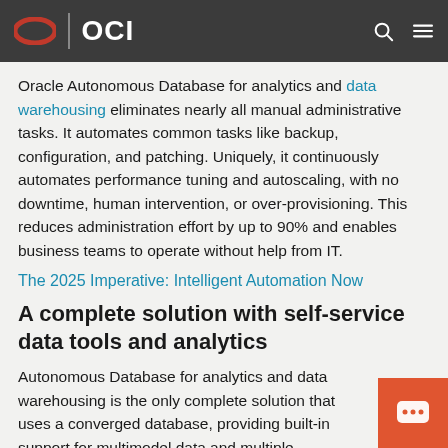OCI
Oracle Autonomous Database for analytics and data warehousing eliminates nearly all manual administrative tasks. It automates common tasks like backup, configuration, and patching. Uniquely, it continuously automates performance tuning and autoscaling, with no downtime, human intervention, or over-provisioning. This reduces administration effort by up to 90% and enables business teams to operate without help from IT.
The 2025 Imperative: Intelligent Automation Now
A complete solution with self-service data tools and analytics
Autonomous Database for analytics and data warehousing is the only complete solution that uses a converged database, providing built-in support for multimodel data and multiple workloads. It includes in self-service tools to improve the productivity of analysts, data scientists, and developers.